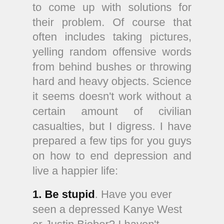to come up with solutions for their problem. Of course that often includes taking pictures, yelling random offensive words from behind bushes or throwing hard and heavy objects. Science it seems doesn't work without a certain amount of civilian casualties, but I digress. I have prepared a few tips for you guys on how to end depression and live a happier life:
1. Be stupid. Have you ever seen a depressed Kanye West or Justin Bieber? I haven't. Stevie Wonder hasn't either. Boom – Inception! Too many levels of comedy. Hans Zimmer, come over here and write